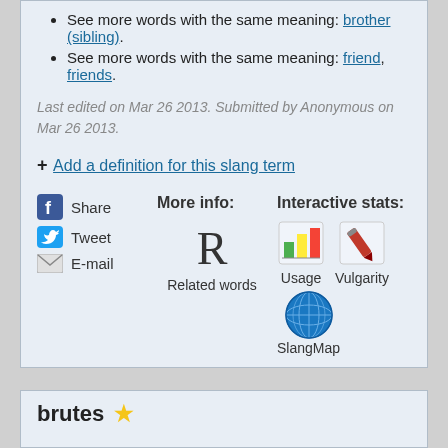See more words with the same meaning: brother (sibling).
See more words with the same meaning: friend, friends.
Last edited on Mar 26 2013. Submitted by Anonymous on Mar 26 2013.
+ Add a definition for this slang term
[Figure (infographic): Social sharing icons: Facebook Share, Tweet, E-mail. More info: R Related words. Interactive stats: Usage bar chart icon, Vulgarity red pen icon, SlangMap globe icon.]
brutes ⭐